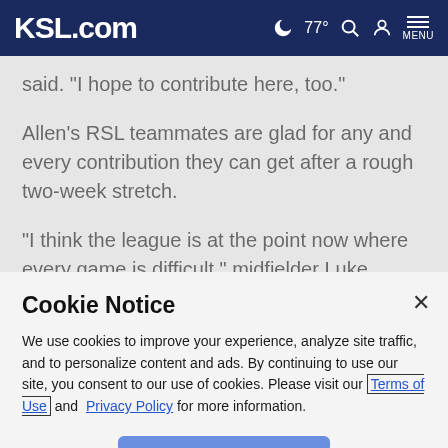KSL.com  ☽ 77°  🔍  👤  MENU
said. “I hope to contribute here, too.”
Allen’s RSL teammates are glad for any and every contribution they can get after a rough two-week stretch.
“I think the league is at the point now where every game is difficult,” midfielder Luke Mulholland said. “There are no easy games in this league, and that’s why there are a lot of
Cookie Notice
We use cookies to improve your experience, analyze site traffic, and to personalize content and ads. By continuing to use our site, you consent to our use of cookies. Please visit our Terms of Use and  Privacy Policy for more information.
Continue